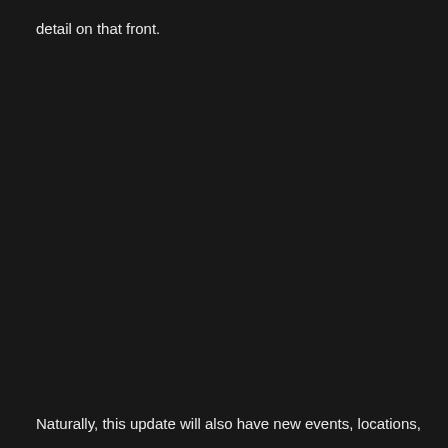detail on that front.
Naturally, this update will also have new events, locations,